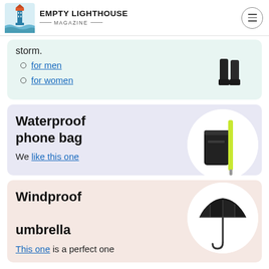Empty Lighthouse Magazine
storm.
for men
for women
Waterproof phone bag
We like this one
[Figure (photo): Waterproof phone bag (Pelican brand) with yellow/neon green lanyard strap, circular cropped product photo]
Windproof umbrella
This one is a perfect one
[Figure (photo): Black folded windproof umbrella, circular cropped product photo]